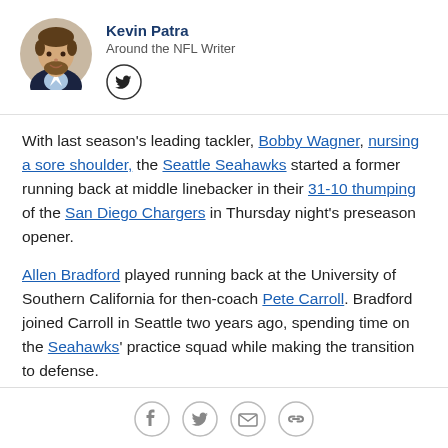[Figure (photo): Headshot photo of Kevin Patra, a man with beard wearing dark jacket]
Kevin Patra
Around the NFL Writer
[Figure (logo): Twitter bird icon in a circle]
With last season's leading tackler, Bobby Wagner, nursing a sore shoulder, the Seattle Seahawks started a former running back at middle linebacker in their 31-10 thumping of the San Diego Chargers in Thursday night's preseason opener.
Allen Bradford played running back at the University of Southern California for then-coach Pete Carroll. Bradford joined Carroll in Seattle two years ago, spending time on the Seahawks' practice squad while making the transition to defense.
[Figure (logo): Social sharing icons: Facebook, Twitter, email, link]